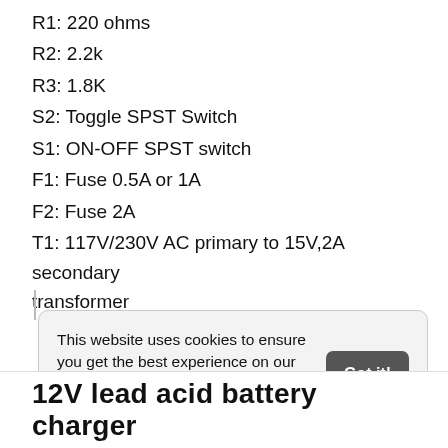R1: 220 ohms
R2: 2.2k
R3: 1.8K
S2: Toggle SPST Switch
S1: ON-OFF SPST switch
F1: Fuse 0.5A or 1A
F2: Fuse 2A
T1: 117V/230V AC primary to 15V,2A secondary transformer
This website uses cookies to ensure you get the best experience on our website. Learn more
12V lead acid battery charger